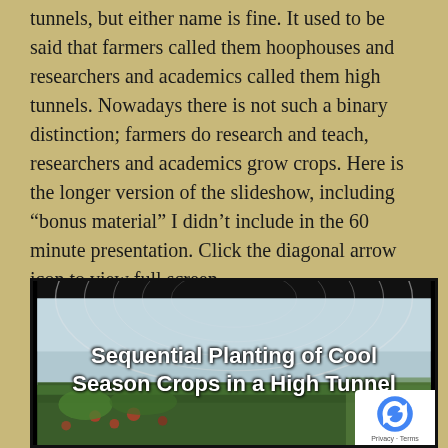tunnels, but either name is fine. It used to be said that farmers called them hoophouses and researchers and academics called them high tunnels. Nowadays there is not such a binary distinction; farmers do research and teach, researchers and academics grow crops. Here is the longer version of the slideshow, including “bonus material” I didn’t include in the 60 minute presentation. Click the diagonal arrow icon to view full screen.
[Figure (screenshot): Slideshow thumbnail showing a high tunnel greenhouse structure with crops growing inside, overlaid with the title 'Sequential Planting of Cool Season Crops in a High Tunnel' in bold white/black text, and a reCAPTCHA badge in the bottom right corner.]